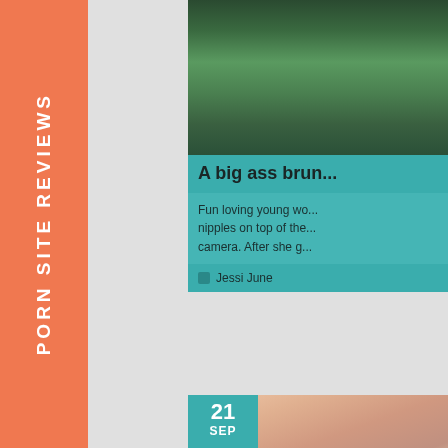PORN SITE REVIEWS
[Figure (photo): Top portion of an outdoor photo with green foliage visible]
A big ass brun...
Fun loving young wo... nipples on top of the... camera. After she g...
Jessi June
[Figure (photo): Date badge showing 21 SEP with photo of two women]
Two girls get n...
A couple of fine wom... start giving each oth... eat pussy. They are...
Denise Dillo...